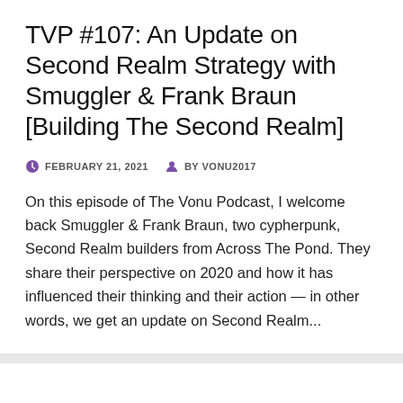TVP #107: An Update on Second Realm Strategy with Smuggler & Frank Braun [Building The Second Realm]
FEBRUARY 21, 2021   BY VONU2017
On this episode of The Vonu Podcast, I welcome back Smuggler & Frank Braun, two cypherpunk, Second Realm builders from Across The Pond. They share their perspective on 2020 and how it has influenced their thinking and their action — in other words, we get an update on Second Realm...